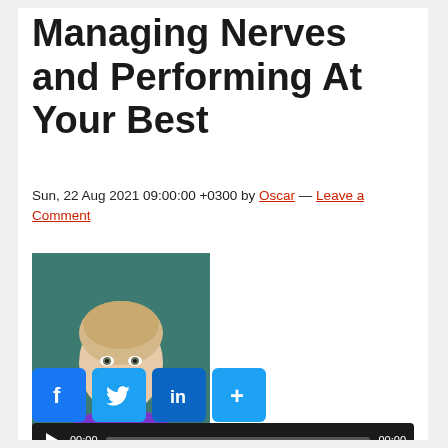Managing Nerves and Performing At Your Best
Sun, 22 Aug 2021 09:00:00 +0300 by Oscar — Leave a Comment
[Figure (photo): Headshot of a blonde woman in a purple sleeveless top against a teal/dark green background]
[Figure (infographic): Social sharing buttons: Facebook (blue f), Twitter (blue bird), LinkedIn (blue in), and a blue plus/share button]
[Figure (screenshot): Audio player bar with dark background, play button, 00:00 timestamp, progress bar, and 00:00 end time]